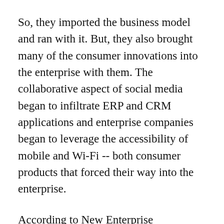So, they imported the business model and ran with it. But, they also brought many of the consumer innovations into the enterprise with them. The collaborative aspect of social media began to infiltrate ERP and CRM applications and enterprise companies began to leverage the accessibility of mobile and Wi-Fi -- both consumer products that forced their way into the enterprise.
According to New Enterprise Associates' partner Scott Sandell, this consumerization wasn't really something that was possible before the first wave of SaaS applications like Salesforce enabled business users to start buying IT products directly.